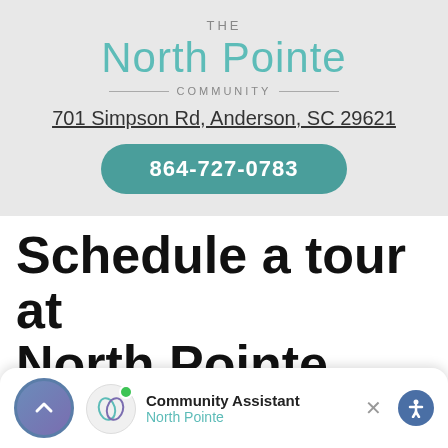THE North Pointe COMMUNITY
701 Simpson Rd, Anderson, SC 29621
864-727-0783
Schedule a tour at North Pointe
701 Simpson Rd, Anderson, SC 29621
Get Directions
Community Assistant
North Pointe